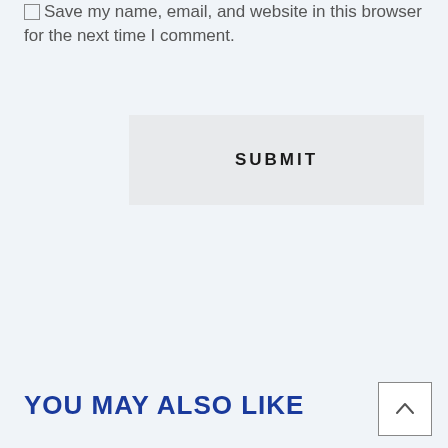Save my name, email, and website in this browser for the next time I comment.
[Figure (other): Submit button — a light grey rectangular button with the label SUBMIT in bold spaced capitals]
YOU MAY ALSO LIKE
[Figure (other): Back to top button — a small square with an upward-pointing chevron arrow]